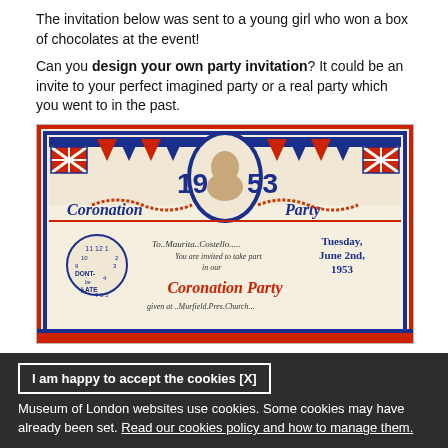The invitation below was sent to a young girl who won a box of chocolates at the event!
Can you design your own party invitation? It could be an invite to your perfect imagined party or a real party which you went to in the past.
[Figure (photo): A 1953 Coronation Party invitation card with red, white and blue design, featuring a portrait of Queen Elizabeth II in the center, Union Jacks, bunting, a clock stamp saying 'DONT BE LATE', and handwritten text inviting 'Maurita Costello' to a Coronation Party on Tuesday June 2nd 1953.]
I am happy to accept the cookies [X]
Museum of London websites use cookies. Some cookies may have already been set. Read our cookies policy and how to manage them.